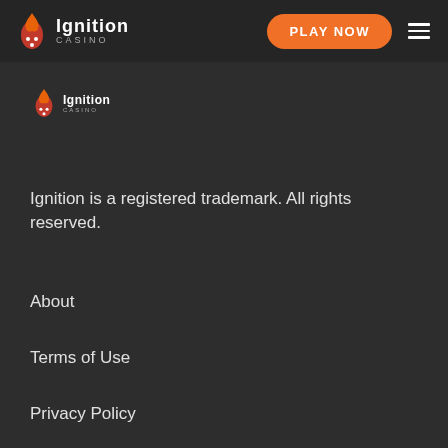Ignition Casino — PLAY NOW
[Figure (logo): Ignition Casino secondary logo — orange flame/fox icon with text Ignition CASINO]
Ignition is a registered trademark. All rights reserved.
About
Terms of Use
Privacy Policy